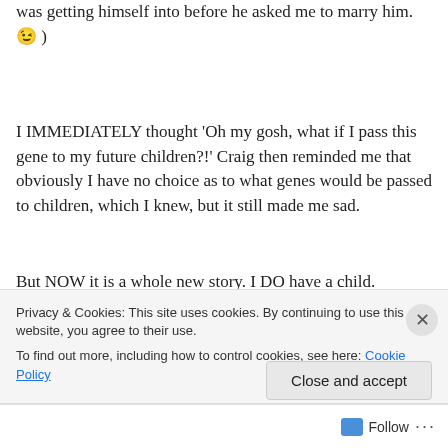was getting himself into before he asked me to marry him. 😉 )
I IMMEDIATELY thought 'Oh my gosh, what if I pass this gene to my future children?!' Craig then reminded me that obviously I have no choice as to what genes would be passed to children, which I knew, but it still made me sad.
But NOW it is a whole new story. I DO have a child.
[Figure (photo): Close-up photo of a person's neck/face area, showing skin detail with a small earring or skin marking visible.]
Privacy & Cookies: This site uses cookies. By continuing to use this website, you agree to their use.
To find out more, including how to control cookies, see here: Cookie Policy
Close and accept
Follow